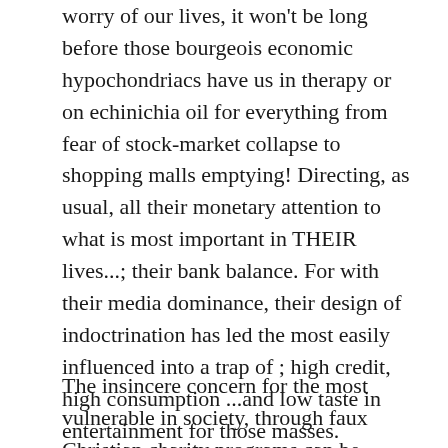worry of our lives, it won't be long before those bourgeois economic hypochondriacs have us in therapy or on echinichia oil for everything from fear of stock-market collapse to shopping malls emptying! Directing, as usual, all their monetary attention to what is most important in THEIR lives...; their bank balance. For with their media dominance, their design of indoctrination has led the most easily influenced into a trap of ; high credit, high consumption ...and low taste in entertainment for those masses.
The insincere concern for the most vulnerable in society, through faux Christian charity programs can be evenly matched by the vicious